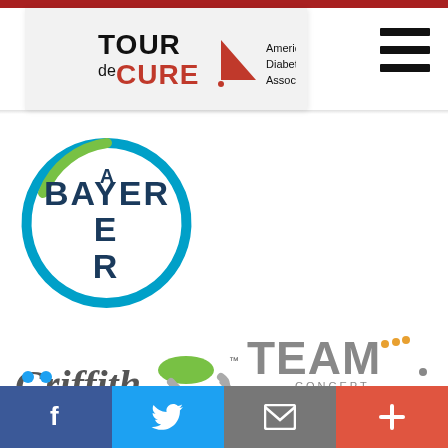[Figure (logo): Tour de Cure - American Diabetes Association logo with red triangle]
[Figure (logo): Hamburger menu icon (three horizontal lines)]
[Figure (logo): Bayer logo - circular design with green and blue arcs and BAYER text in dark blue]
[Figure (logo): Griffith Foods logo with green leaf/hand icon]
[Figure (logo): TEAM Concept logo - Printing, Signage, Mailing, Fulfillment]
[Figure (logo): Social media navigation bar: Facebook, Twitter, Email, Plus buttons]